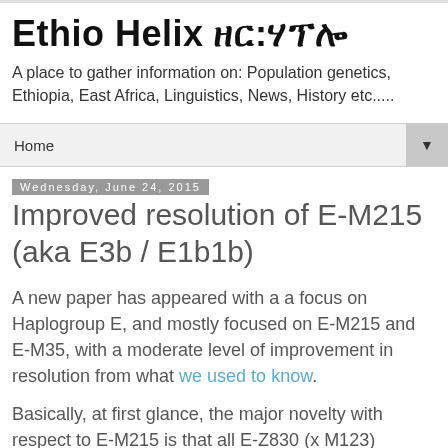Ethio Helix ዘር:ሃፕሎ
A place to gather information on: Population genetics, Ethiopia, East Africa, Linguistics, News, History etc.....
Home
Wednesday, June 24, 2015
Improved resolution of E-M215 (aka E3b / E1b1b)
A new paper has appeared with a a focus on Haplogroup E, and mostly focused on E-M215 and E-M35, with a moderate level of improvement in resolution from what we used to know.
Basically, at first glance, the major novelty with respect to E-M215 is that all E-Z830 (x M123)